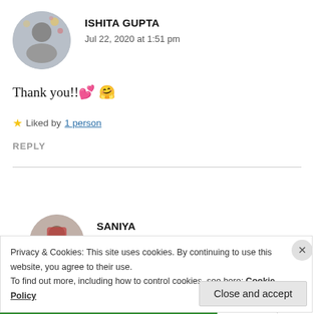[Figure (photo): Circular avatar photo of Ishita Gupta, showing a person with bokeh background]
ISHITA GUPTA
Jul 22, 2020 at 1:51 pm
Thank you!! 💕 🤗
★ Liked by 1 person
REPLY
[Figure (photo): Circular avatar photo of Saniya, showing a person in red outfit]
SANIYA
Jul 24, 2020 at 5:30 pm
Privacy & Cookies: This site uses cookies. By continuing to use this website, you agree to their use.
To find out more, including how to control cookies, see here: Cookie Policy
Close and accept